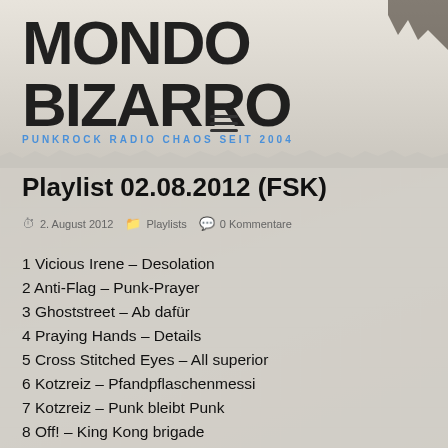MONDO BIZARRO — PUNKROCK RADIO CHAOS SEIT 2004
Playlist 02.08.2012 (FSK)
2. August 2012   Playlists   0 Kommentare
1 Vicious Irene – Desolation
2 Anti-Flag – Punk-Prayer
3 Ghoststreet – Ab dafür
4 Praying Hands – Details
5 Cross Stitched Eyes – All superior
6 Kotzreiz – Pfandpflaschenmessi
7 Kotzreiz – Punk bleibt Punk
8 Off! – King Kong brigade
9 Cerebral Ballzy – On the run
10 Notgemeinschaft Peter Pan – Fensterfarben